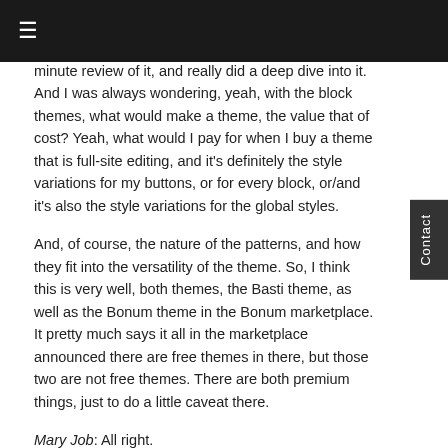≡
minute review of it, and really did a deep dive into it. And I was always wondering, yeah, with the block themes, what would make a theme, the value that of cost? Yeah, what would I pay for when I buy a theme that is full-site editing, and it's definitely the style variations for my buttons, or for every block, or/and it's also the style variations for the global styles.
And, of course, the nature of the patterns, and how they fit into the versatility of the theme. So, I think this is very well, both themes, the Basti theme, as well as the Bonum theme in the Bonum marketplace. It pretty much says it all in the marketplace announced there are free themes in there, but those two are not free themes. There are both premium things, just to do a little caveat there.
Mary Job: All right.
What's Released – Gutenberg 13.7
Birgit Pauli-Haack: So, that brings us to our what's releases section, and we released yesterday or the Gutenberg team released yesterday, on Wednesday 20th, the Gutenberg 13.7. Yeah, Gutenberg 13.7 brings an updated model design. And we'll talk about the features later.